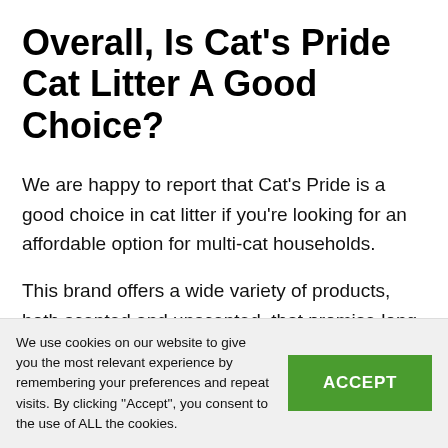Overall, Is Cat's Pride Cat Litter A Good Choice?
We are happy to report that Cat's Pride is a good choice in cat litter if you're looking for an affordable option for multi-cat households.
This brand offers a wide variety of products, both scented and unscented, that promise long-lasting odor control. Their litter also forms tight, hard
We use cookies on our website to give you the most relevant experience by remembering your preferences and repeat visits. By clicking ''Accept'', you consent to the use of ALL the cookies.